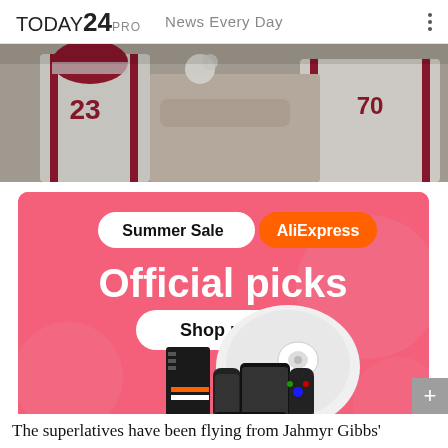TODAY24 PRO  News Every Day
[Figure (photo): Football players in red and white uniforms in action on field]
[Figure (infographic): AliExpress Summer Sale advertisement banner with text 'Summer Sale AliExpress Official picks Shop now' and product images including robot vacuum, gaming console and Nintendo Switch]
The superlatives have been flying from Jahmyr Gibbs'